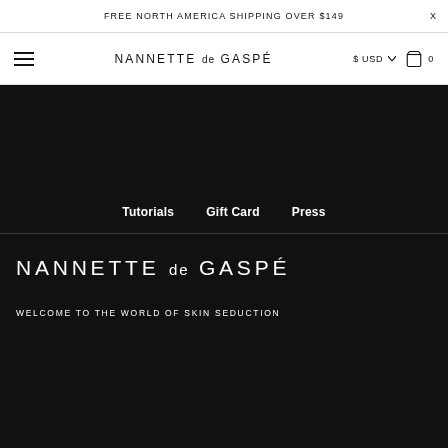FREE NORTH AMERICA SHIPPING OVER $149  X
[Figure (screenshot): Navigation bar with hamburger menu on left, 'NANNETTE de GASPÉ' brand logo in center, and '$ USD' currency selector with shopping bag icon and '0' count on right]
Tutorials
Gift Card
Press
NANNETTE de GASPÉ
WELCOME TO THE WORLD OF SKIN SEDUCTION